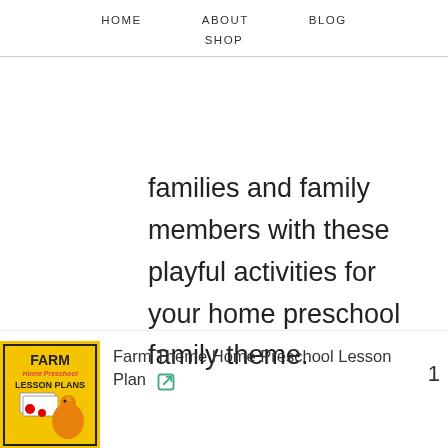HOME   ABOUT   BLOG   SHOP
families and family members with these playful activities for your home preschool family theme.
[Figure (photo): Farm Theme Home Preschool Lesson Plans book cover with farm imagery]
Farm Theme Home Preschool Lesson Plan  [external link icon]
1